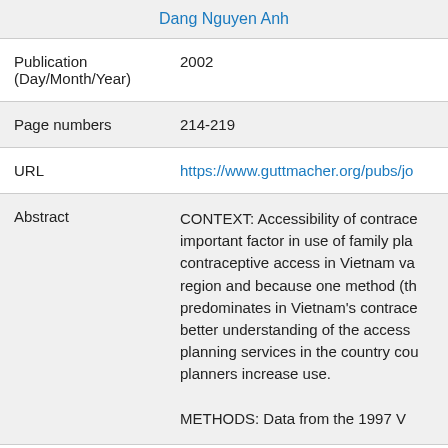Dang Nguyen Anh
| Publication (Day/Month/Year) | 2002 |
| Page numbers | 214-219 |
| URL | https://www.guttmacher.org/pubs/jo |
| Abstract | CONTEXT: Accessibility of contrace important factor in use of family pla contraceptive access in Vietnam va region and because one method (th predominates in Vietnam's contrace better understanding of the access planning services in the country cou planners increase use. METHODS: Data from the 1997 V... |